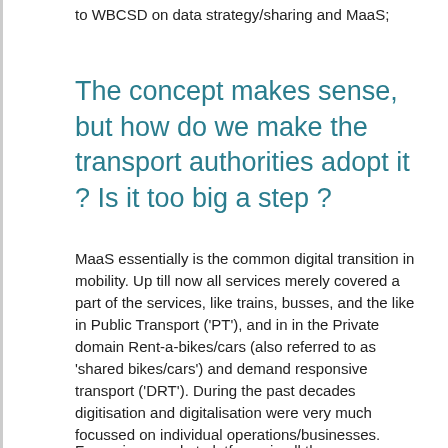to WBCSD on data strategy/sharing and MaaS;
The concept makes sense, but how do we make the transport authorities adopt it ? Is it too big a step ?
MaaS essentially is the common digital transition in mobility. Up till now all services merely covered a part of the services, like trains, busses, and the like in Public Transport ('PT'), and in in the Private domain Rent-a-bikes/cars (also referred to as 'shared bikes/cars') and demand responsive transport ('DRT'). During the past decades digitisation and digitalisation were very much focussed on individual operations/businesses.
For serious market platforms in all the...